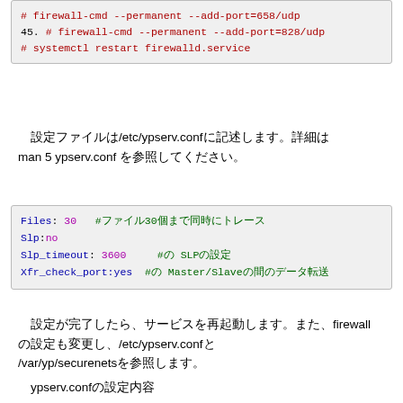# firewall-cmd --permanent --add-port=658/udp
45. # firewall-cmd --permanent --add-port=828/udp
    # systemctl restart firewalld.service
設定ファイルは/etc/ypserv.confに記述します。詳細はman 5 ypserv.conf を参照してください。
Files: 30   #ファイル30個まで同時にトレース
Slp: no
Slp_timeout: 3600      #の SLPの設定
Xfr_check_port:yes   #の Master/Slaveの間のデータ転送
設定が完了したら、サービスを再起動します。また、firewallの設定も変更し、/etc/ypserv.confと/var/yp/securenetsを参照します。
ypserv.confの設定内容